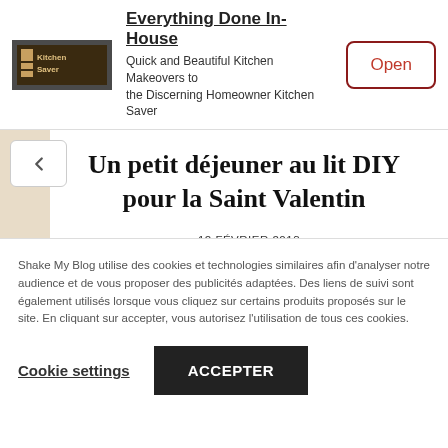[Figure (screenshot): Kitchen Saver advertisement banner with logo, headline, subtext, and Open button]
Un petit déjeuner au lit DIY pour la Saint Valentin
12 FÉVRIER 2013
Comment organiser un petit déjeuner au lit DIY pour la Saint Valentin ? Pour fêter la Saint Valentin, voici une idée originale qui consiste à inviter
[Figure (photo): Partially visible photo strip at the bottom of the article]
Shake My Blog utilise des cookies et technologies similaires afin d'analyser notre audience et de vous proposer des publicités adaptées. Des liens de suivi sont également utilisés lorsque vous cliquez sur certains produits proposés sur le site. En cliquant sur accepter, vous autorisez l'utilisation de tous ces cookies.
Cookie settings
ACCEPTER